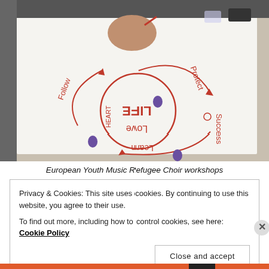[Figure (photo): A person drawing a circular diagram on a large sheet of white paper with red marker. The diagram shows a circle in the center with 'LIFE' and 'Love' written in it, with 'HEART' on the left side. Arrows around the circle are labeled 'Protect' (top), 'Success' (right), 'Learn' (bottom), and 'Follow' (left).]
European Youth Music Refugee Choir workshops
Privacy & Cookies: This site uses cookies. By continuing to use this website, you agree to their use.
To find out more, including how to control cookies, see here: Cookie Policy